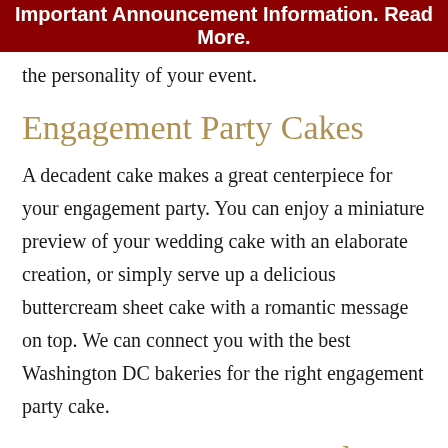Important Announcement Information. Read More.
the personality of your event.
Engagement Party Cakes
A decadent cake makes a great centerpiece for your engagement party. You can enjoy a miniature preview of your wedding cake with an elaborate creation, or simply serve up a delicious buttercream sheet cake with a romantic message on top. We can connect you with the best Washington DC bakeries for the right engagement party cake.
Engagement Party Food Ideas